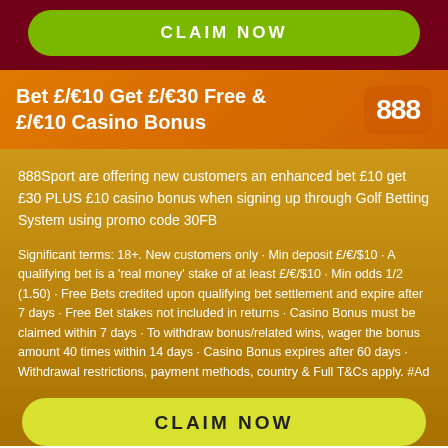CLAIM NOW
Bet £/€10 Get £/€30 Free & £/€10 Casino Bonus
[Figure (logo): 888 sport logo — three 8s in white on semi-transparent background]
888Sport are offering new customers an enhanced bet £10 get £30 PLUS £10 casino bonus when signing up through Golf Betting System using promo code 30FB
Significant terms: 18+. New customers only · Min deposit £/€/$10 · A qualifying bet is a 'real money' stake of at least £/€/$10 · Min odds 1/2 (1.50) · Free Bets credited upon qualifying bet settlement and expire after 7 days · Free Bet stakes not included in returns · Casino Bonus must be claimed within 7 days · To withdraw bonus/related wins, wager the bonus amount 40 times within 14 days · Casino Bonus expires after 60 days · Withdrawal restrictions, payment methods, country & Full T&Cs apply. #Ad
CLAIM NOW